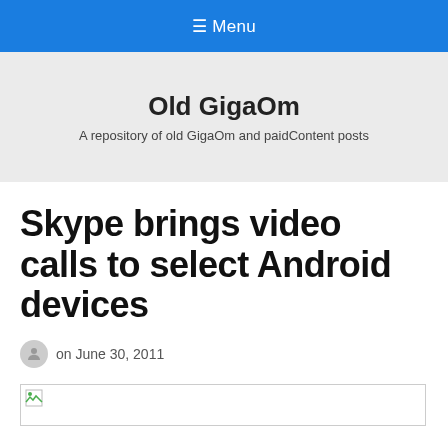≡ Menu
Old GigaOm
A repository of old GigaOm and paidContent posts
Skype brings video calls to select Android devices
on June 30, 2011
[Figure (other): Broken image placeholder]